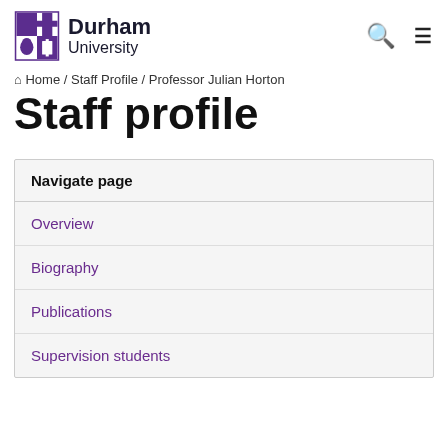Durham University
Home / Staff Profile / Professor Julian Horton
Staff profile
Navigate page
Overview
Biography
Publications
Supervision students